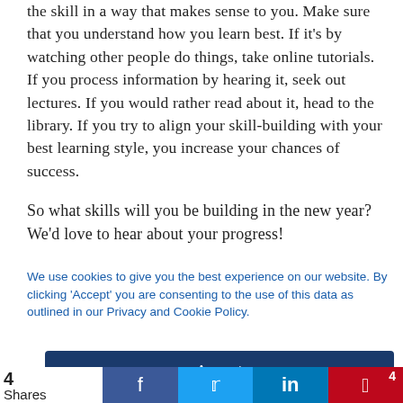the skill in a way that makes sense to you. Make sure that you understand how you learn best. If it's by watching other people do things, take online tutorials. If you process information by hearing it, seek out lectures. If you would rather read about it, head to the library. If you try to align your skill-building with your best learning style, you increase your chances of success.
So what skills will you be building in the new year? We'd love to hear about your progress!
We use cookies to give you the best experience on our website. By clicking 'Accept' you are consenting to the use of this data as outlined in our Privacy and Cookie Policy.
Accept
4 Shares